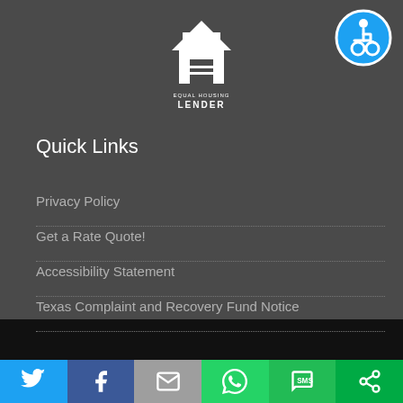[Figure (logo): Equal Housing Lender logo - white house icon with EQUAL HOUSING LENDER text]
[Figure (logo): Accessibility icon - blue circle with wheelchair symbol]
Quick Links
Privacy Policy
Get a Rate Quote!
Accessibility Statement
Texas Complaint and Recovery Fund Notice
[Figure (infographic): Social sharing buttons bar: Twitter (blue), Facebook (dark blue), Email (gray), WhatsApp (green), SMS (green), ShareThis (green)]